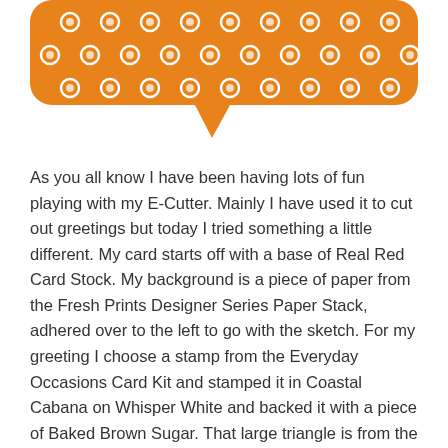[Figure (illustration): An orange speech bubble / banner shape with white polka dot pattern, partially visible at top of page, cut off at the top]
As you all know I have been having lots of fun playing with my E-Cutter. Mainly I have used it to cut out greetings but today I tried something a little different. My card starts off with a base of Real Red Card Stock. My background is a piece of paper from the Fresh Prints Designer Series Paper Stack, adhered over to the left to go with the sketch. For my greeting I choose a stamp from the Everyday Occasions Card Kit and stamped it in Coastal Cabana on Whisper White and backed it with a piece of Baked Brown Sugar. That large triangle is from the Geometrical Stamp Brush Set and is resized and cut out with my E-Cutter. Some Stampin' Dimensionals pieces adhere it to the card. It really is quite cool what detailed and crisp cuts you can get using a Stamp Brush